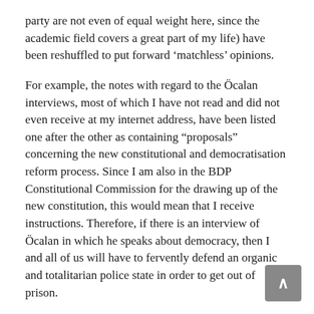party are not even of equal weight here, since the academic field covers a great part of my life) have been reshuffled to put forward ‘matchless’ opinions.
For example, the notes with regard to the Öcalan interviews, most of which I have not read and did not even receive at my internet address, have been listed one after the other as containing “proposals” concerning the new constitutional and democratisation reform process. Since I am also in the BDP Constitutional Commission for the drawing up of the new constitution, this would mean that I receive instructions. Therefore, if there is an interview of Öcalan in which he speaks about democracy, then I and all of us will have to fervently defend an organic and totalitarian police state in order to get out of prison.
This is out of the question!
So this means that the BDP should wait in prison. Until we (the government) make sure that their local governments and the democratization process are both placed under a new postmodern techno-tutelage. The police say, “It has been noted that you have been in and out of the country time and again between 2000-2012